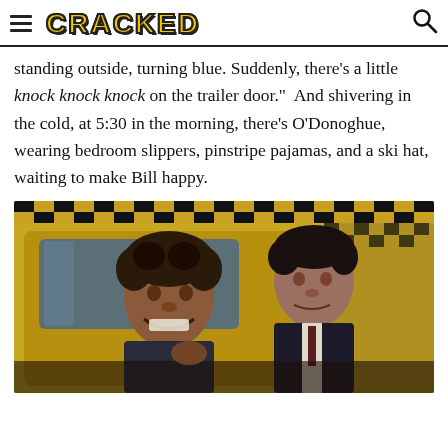CRACKED
standing outside, turning blue. Suddenly, there's a little knock knock knock on the trailer door.”  And shivering in the cold, at 5:30 in the morning, there's O’Donoghue, wearing bedroom slippers, pinstripe pajamas, and a ski hat, waiting to make Bill happy.
[Figure (photo): Two men in a yellow taxi cab scene — a shorter man with curly hair leaning out the cab window grinning, and a tall man with dark hair behind him looking forward, from a movie scene.]